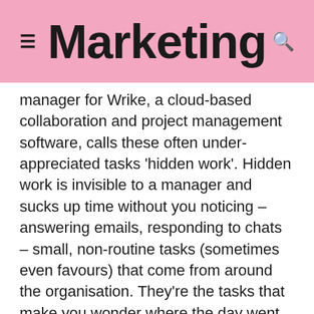Marketing
manager for Wrike, a cloud-based collaboration and project management software, calls these often under-appreciated tasks 'hidden work'. Hidden work is invisible to a manager and sucks up time without you noticing – answering emails, responding to chats – small, non-routine tasks (sometimes even favours) that come from around the organisation. They're the tasks that make you wonder where the day went.
Marketing spoke to Lalor to learn more about how hidden work contaminates the marketer's workflow, how technology can be used to mitigate the problem